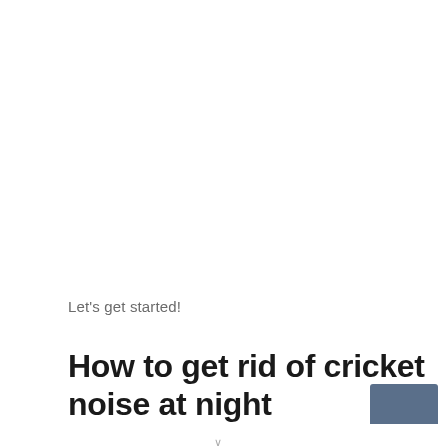Let's get started!
How to get rid of cricket noise at night